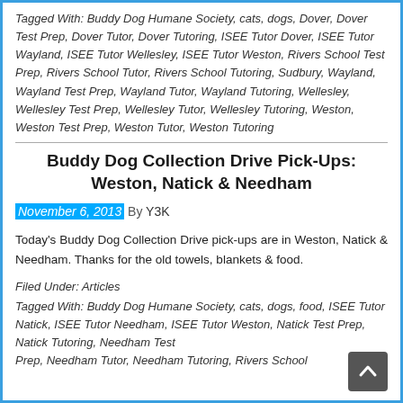Tagged With: Buddy Dog Humane Society, cats, dogs, Dover, Dover Test Prep, Dover Tutor, Dover Tutoring, ISEE Tutor Dover, ISEE Tutor Wayland, ISEE Tutor Wellesley, ISEE Tutor Weston, Rivers School Test Prep, Rivers School Tutor, Rivers School Tutoring, Sudbury, Wayland, Wayland Test Prep, Wayland Tutor, Wayland Tutoring, Wellesley, Wellesley Test Prep, Wellesley Tutor, Wellesley Tutoring, Weston, Weston Test Prep, Weston Tutor, Weston Tutoring
Buddy Dog Collection Drive Pick-Ups: Weston, Natick & Needham
November 6, 2013 By Y3K
Today's Buddy Dog Collection Drive pick-ups are in Weston, Natick & Needham. Thanks for the old towels, blankets & food.
Filed Under: Articles
Tagged With: Buddy Dog Humane Society, cats, dogs, food, ISEE Tutor Natick, ISEE Tutor Needham, ISEE Tutor Weston, Natick Test Prep, Natick Tutoring, Needham Test Prep, Needham Tutor, Needham Tutoring, Rivers School